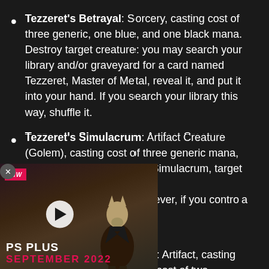Tezzeret's Betrayal: Sorcery, casting cost of three generic, one blue, and one black mana. Destroy target creature: you may search your library and/or graveyard for a card named Tezzeret, Master of Metal, reveal it, and put it into your hand. If you search your library this way, shuffle it.
Tezzeret's Simulacrum: Artifact Creature (Golem), casting cost of three generic mana, 2/3. By tapping Tezzeret's Simulacrum, target opponent loses one life. However, if you control a Tezzeret Planeswalker, that instead.
Artifact, casting cost of two ndulum of Patterns enters the e life. By paying five generic mana, tapping Pendulum of Patterns, and sacrificing it, you can draw a card.
Submerged Boneyard: Land, enters the battlefield
[Figure (screenshot): Video overlay thumbnail showing a character with a dog mask in a dark suit, with MW logo (red background) in top left, play button in center, and 'PS PLUS SEPTEMBER 2022' text in bottom left]